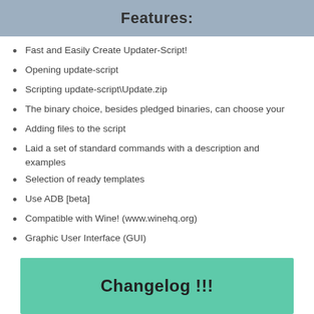Features:
Fast and Easily Create Updater-Script!
Opening update-script
Scripting update-script\Update.zip
The binary choice, besides pledged binaries, can choose your
Adding files to the script
Laid a set of standard commands with a description and examples
Selection of ready templates
Use ADB [beta]
Compatible with Wine! (www.winehq.org)
Graphic User Interface (GUI)
Changelog !!!
12.01.2019 (v1.0.1.8 [Build: 1030])